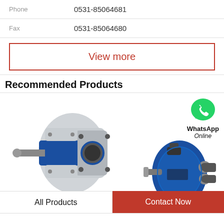Phone    0531-85064681
Fax    0531-85064680
View more
Recommended Products
[Figure (photo): Blue and silver hydraulic gear pump on left panel]
[Figure (photo): Blue axial piston pump on right panel with WhatsApp Online overlay icon]
All Products
Contact Now